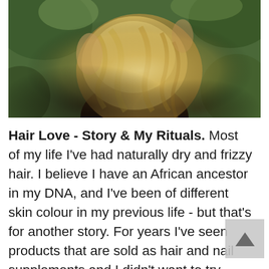[Figure (photo): Photo of a woman seen from behind with long wavy blonde hair, wearing a dark top, surrounded by green foliage/plants]
Hair Love - Story & My Rituals. Most of my life I've had naturally dry and frizzy hair. I believe I have an African ancestor in my DNA, and I've been of different skin colour in my previous life - but that's for another story. For years I've seen products that are sold as hair and nail supplements and I didn't want to try them becasue I was affraid that the unwanted hair that I was treating with laser will grow back if I take these supplements. Well - the time came